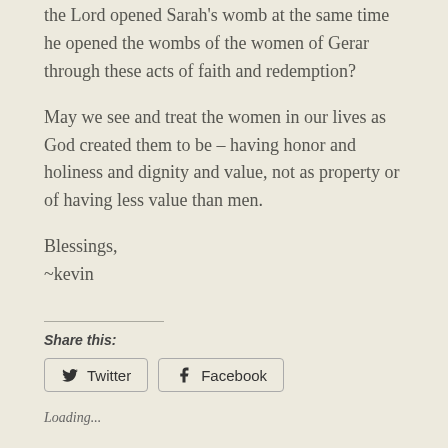the Lord opened Sarah's womb at the same time he opened the wombs of the women of Gerar through these acts of faith and redemption?
May we see and treat the women in our lives as God created them to be – having honor and holiness and dignity and value, not as property or of having less value than men.
Blessings,
~kevin
Share this:
Twitter  Facebook
Loading...